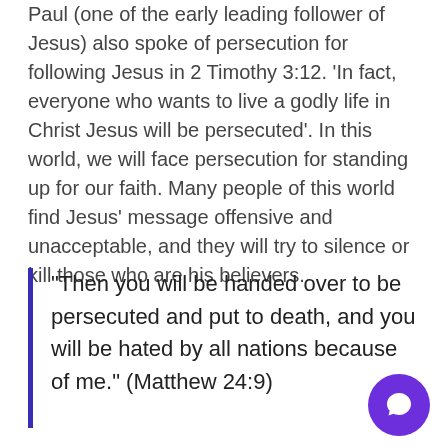Paul (one of the early leading follower of Jesus) also spoke of persecution for following Jesus in 2 Timothy 3:12. 'In fact, everyone who wants to live a godly life in Christ Jesus will be persecuted'. In this world, we will face persecution for standing up for our faith. Many people of this world find Jesus' message offensive and unacceptable, and they will try to silence or kill those who are his believers.
"Then you will be handed over to be persecuted and put to death, and you will be hated by all nations because of me." (Matthew 24:9)